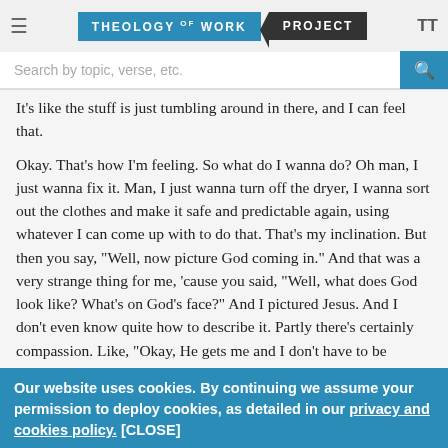Theology of Work Project
Search by topic, verse, etc.
It's like the stuff is just tumbling around in there, and I can feel that.
Okay. That's how I'm feeling. So what do I wanna do? Oh man, I just wanna fix it. Man, I just wanna turn off the dryer, I wanna sort out the clothes and make it safe and predictable again, using whatever I can come up with to do that. That's my inclination. But then you say, "Well, now picture God coming in." And that was a very strange thing for me, 'cause you said, "Well, what does God look like? What's on God's face?" And I pictured Jesus. And I don't even know quite how to describe it. Partly there's certainly compassion. Like, "Okay, He gets me and I don't have to be ashamed in front of Jesus." But it was almost a little bit of sadness like, "Oh no, you're doing this again to yourself." [chuckle] but it was a tender sadness. It wasn't a
Our website uses cookies. By continuing we assume your permission to deploy cookies, as detailed in our privacy and cookies policy. [CLOSE]